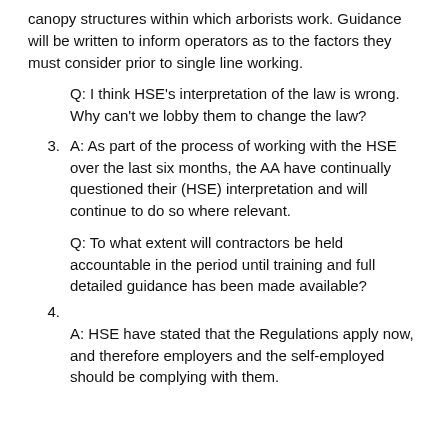canopy structures within which arborists work. Guidance will be written to inform operators as to the factors they must consider prior to single line working.
Q: I think HSE’s interpretation of the law is wrong. Why can’t we lobby them to change the law?
3.   A: As part of the process of working with the HSE over the last six months, the AA have continually questioned their (HSE) interpretation and will continue to do so where relevant.
Q: To what extent will contractors be held accountable in the period until training and full detailed guidance has been made available?
4.
A: HSE have stated that the Regulations apply now, and therefore employers and the self-employed should be complying with them.